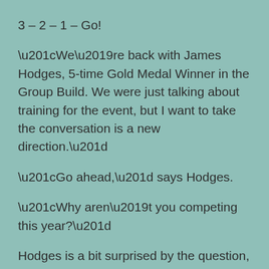3 – 2 – 1 – Go!
“We’re back with James Hodges, 5-time Gold Medal Winner in the Group Build. We were just talking about training for the event, but I want to take the conversation is a new direction.”
“Go ahead,” says Hodges.
“Why aren’t you competing this year?”
Hodges is a bit surprised by the question, but it isn’t the first time he’s been asked. “Donald,” he replies, “This isn’t the kind of sport that you